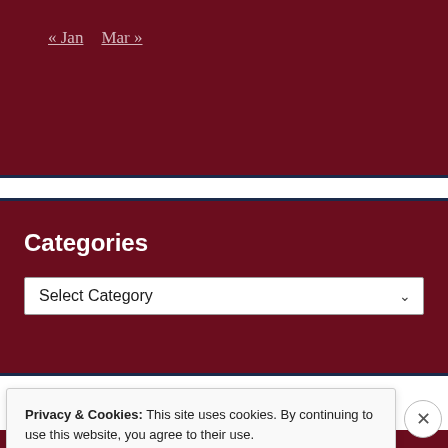« Jan   Mar »
Categories
Select Category
Privacy & Cookies: This site uses cookies. By continuing to use this website, you agree to their use.
To find out more, including how to control cookies, see here: Cookie Policy
Close and accept